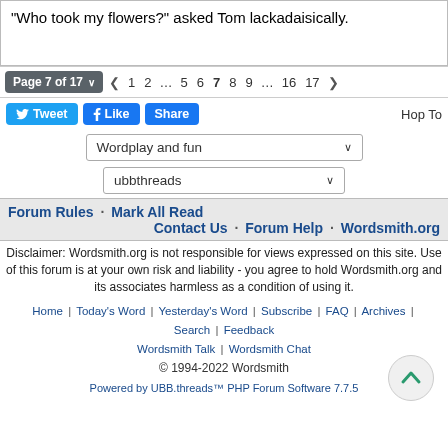"Who took my flowers?" asked Tom lackadaisically.
Page 7 of 17  ❮ 1 2 … 5 6 7 8 9 … 16 17 ❯
Tweet  Like  Share  Hop To
Wordplay and fun
ubbthreads
Forum Rules · Mark All Read
Contact Us · Forum Help · Wordsmith.org
Disclaimer: Wordsmith.org is not responsible for views expressed on this site. Use of this forum is at your own risk and liability - you agree to hold Wordsmith.org and its associates harmless as a condition of using it.
Home | Today's Word | Yesterday's Word | Subscribe | FAQ | Archives | Search | Feedback
Wordsmith Talk | Wordsmith Chat
© 1994-2022 Wordsmith
Powered by UBB.threads™ PHP Forum Software 7.7.5